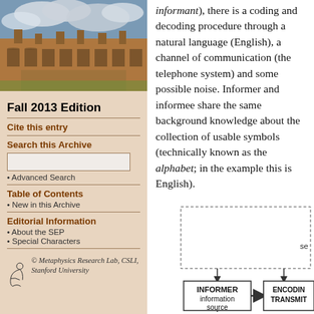[Figure (photo): Photo of a historic university building with gothic architecture and cloudy sky]
Fall 2013 Edition
Cite this entry
Search this Archive
• Advanced Search
Table of Contents
• New in this Archive
Editorial Information
• About the SEP
• Special Characters
© Metaphysics Research Lab, CSLI, Stanford University
informant), there is a coding and decoding procedure through a natural language (English), a channel of communication (the telephone system) and some possible noise. Informer and informee share the same background knowledge about the collection of usable symbols (technically known as the alphabet; in the example this is English).
[Figure (engineering-diagram): Communication system diagram showing INFORMER information source box connected to ENCODING TRANSMIT box with arrows, and a feedback loop from above]